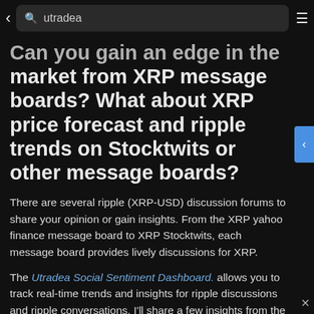utradea
Can you gain an edge in the market from XRP message boards? What about XRP price forecast and ripple trends on Stocktwits or other message boards?
There are several ripple (XRP-USD) discussion forums to share your opinion or gain insights. From the XRP yahoo finance message board to XRP Stocktwits, each message board provides lively discussions for XRP.
The Utradea Social Sentiment Dashboard. allows you to track real-time trends and insights for ripple discussions and ripple conversations. I'll share a few insights from the